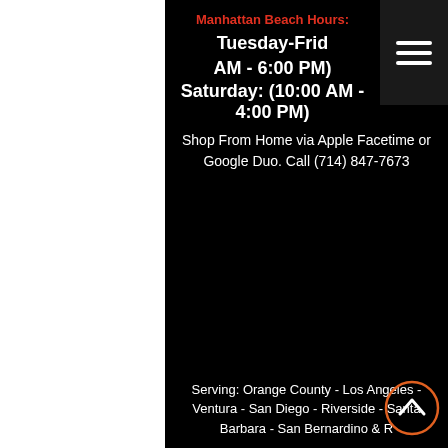Manhattan Beach Hours: Tuesday-Friday AM - 6:00 PM) Saturday: (10:00 AM - 4:00 PM)
Shop From Home via Apple Facetime or Google Duo. Call (714) 847-7673
Serving: Orange County - Los Angeles - Ventura - San Diego - Riverside - Santa Barbara - San Bernardino & R...